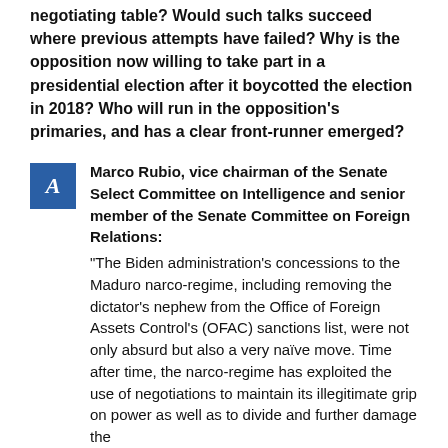negotiating table? Would such talks succeed where previous attempts have failed? Why is the opposition now willing to take part in a presidential election after it boycotted the election in 2018? Who will run in the opposition's primaries, and has a clear front-runner emerged?
Marco Rubio, vice chairman of the Senate Select Committee on Intelligence and senior member of the Senate Committee on Foreign Relations: “The Biden administration’s concessions to the Maduro narco-regime, including removing the dictator’s nephew from the Office of Foreign Assets Control’s (OFAC) sanctions list, were not only absurd but also a very naïve move. Time after time, the narco-regime has exploited the use of negotiations to maintain its illegitimate grip on power as well as to divide and further damage the opposition, all the more so that Marco and